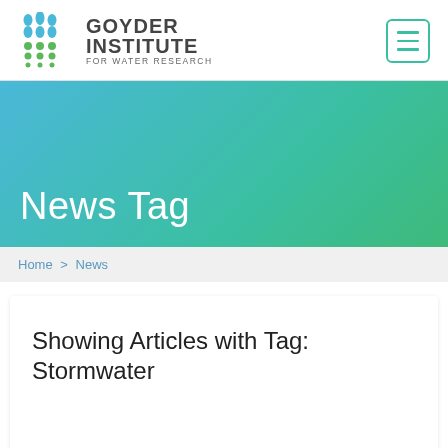Goyder Institute for Water Research
News Tag
Home > News
Showing Articles with Tag: Stormwater